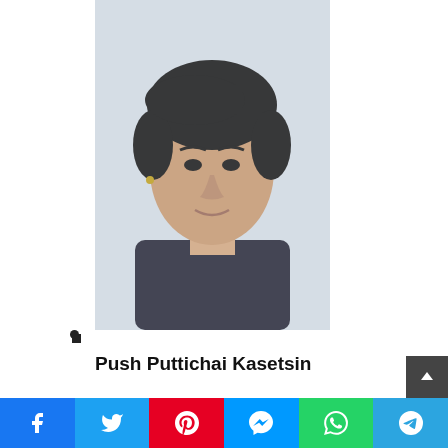[Figure (photo): Headshot photo of Push Puttichai Kasetsin, a young Asian male actor with dark hair, wearing a dark top, looking slightly upward against a light background.]
Push Puttichai Kasetsin
Chatchavee [Nira's uncle-in-law]
Main Role
[Figure (photo): Photo of a second Asian male actor with dark hair, resting his chin/cheek on his hand, wearing a dark top, against a dark background.]
Social share bar with Facebook, Twitter, Pinterest, Messenger, WhatsApp, Telegram buttons